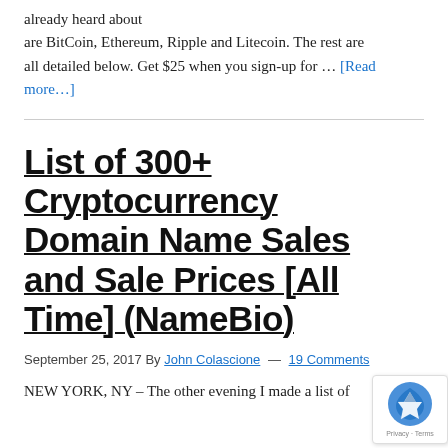already heard about are BitCoin, Ethereum, Ripple and Litecoin. The rest are all detailed below. Get $25 when you sign-up for … [Read more...]
List of 300+ Cryptocurrency Domain Name Sales and Sale Prices [All Time] (NameBio)
September 25, 2017 By John Colascione — 19 Comments
NEW YORK, NY – The other evening I made a list of